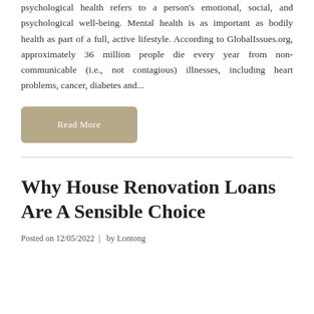psychological health refers to a person's emotional, social, and psychological well-being. Mental health is as important as bodily health as part of a full, active lifestyle. According to GlobalIssues.org, approximately 36 million people die every year from non-communicable (i.e., not contagious) illnesses, including heart problems, cancer, diabetes and...
Read More
Why House Renovation Loans Are A Sensible Choice
Posted on 12/05/2022  |  by Lontong